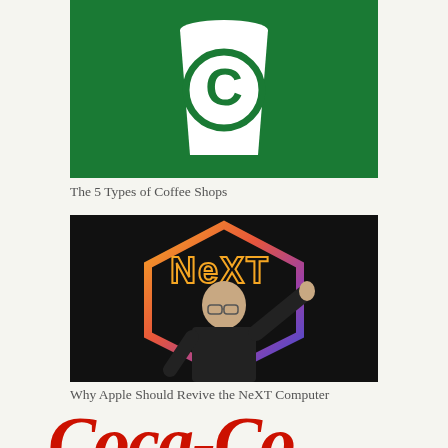[Figure (illustration): Green background with white coffee cup outline containing the letter C in green, resembling a Starbucks-style coffee shop logo]
The 5 Types of Coffee Shops
[Figure (photo): Tim Cook on stage waving, standing in front of a colorful NeXT hexagonal logo graphic with orange, red, purple and blue gradient colors on a dark background]
Why Apple Should Revive the NeXT Computer
[Figure (logo): Coca-Cola logo in red cursive script, partially visible at the bottom of the page]